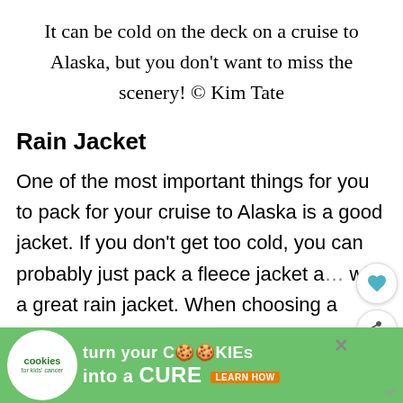It can be cold on the deck on a cruise to Alaska, but you don't want to miss the scenery! © Kim Tate
Rain Jacket
One of the most important things for you to pack for your cruise to Alaska is a good jacket. If you don't get too cold, you can probably just pack a fleece jacket a… with a great rain jacket. When choosing a ra…
[Figure (screenshot): Cookies for Kids Cancer ad banner at the bottom: green background with white circle logo, text 'turn your COOKIES into a CURE LEARN HOW']
[Figure (screenshot): What's Next overlay showing a cruise ship thumbnail and text '27 Useful Things to...']
[Figure (screenshot): Heart/save button and share button floating on the right side]